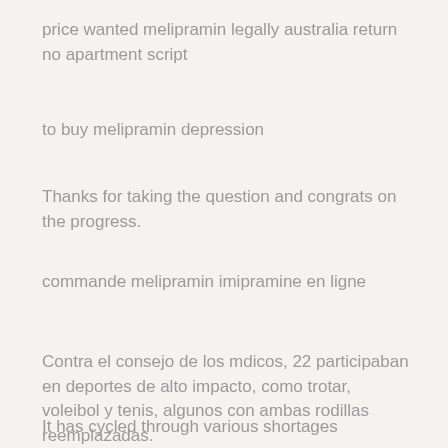price wanted melipramin legally australia return no apartment script
to buy melipramin depression
Thanks for taking the question and congrats on the progress.
commande melipramin imipramine en ligne
Contra el consejo de los mdicos, 22 participaban en deportes de alto impacto, como trotar, voleibol y tenis, algunos con ambas rodillas reemplazadas.
It has cycled through various shortages